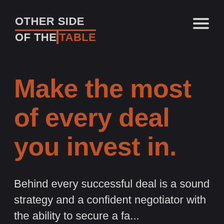[Figure (logo): Other Side of the Table logo — bold uppercase text with orange accent underline and orange 'TABLE' text with left border]
Make the most of every deal you invest in.
Behind every successful deal is a sound strategy and a confident negotiator with the ability to secure a fa...